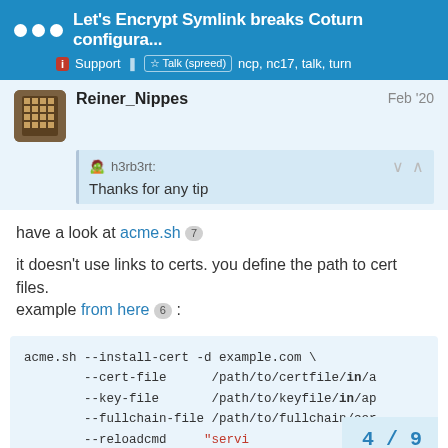Let's Encrypt Symlink breaks Coturn configura... | Support | Talk (spreed) ncp, nc17, talk, turn
Reiner_Nippes — Feb '20
h3rb3rt: Thanks for any tip
have a look at acme.sh 7
it doesn't use links to certs. you define the path to cert files. example from here 6 :
acme.sh --install-cert -d example.com \
        --cert-file      /path/to/certfile/in/a
        --key-file       /path/to/keyfile/in/ap
        --fullchain-file /path/to/fullchain/cer
        --reloadcmd     "servi...
4 / 9